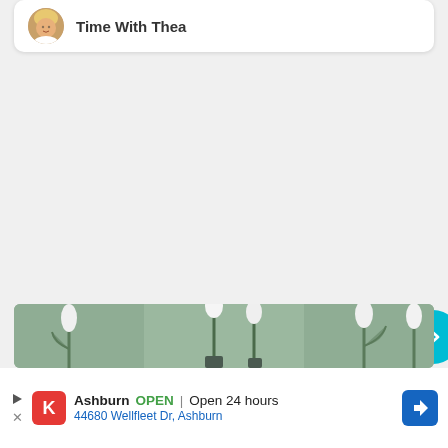Time With Thea
[Figure (photo): White tulips in vases against a soft green/grey background]
Ashburn  OPEN  Open 24 hours  44680 Wellfleet Dr, Ashburn